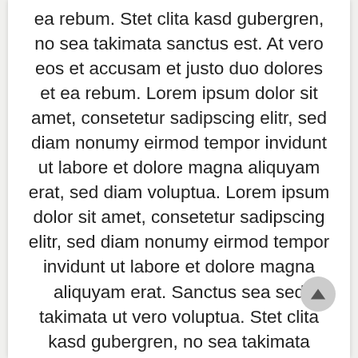ea rebum. Stet clita kasd gubergren, no sea takimata sanctus est. At vero eos et accusam et justo duo dolores et ea rebum. Lorem ipsum dolor sit amet, consetetur sadipscing elitr, sed diam nonumy eirmod tempor invidunt ut labore et dolore magna aliquyam erat, sed diam voluptua. Lorem ipsum dolor sit amet, consetetur sadipscing elitr, sed diam nonumy eirmod tempor invidunt ut labore et dolore magna aliquyam erat. Sanctus sea sed takimata ut vero voluptua. Stet clita kasd gubergren, no sea takimata sanctus est Lorem ipsum dolor sit amet. Lorem ipsum dolor sit amet, consectetuer adipiscing elit, sed diam nonummy nibh euismod tincidunt ut laoreet dolore magna aliquam erat